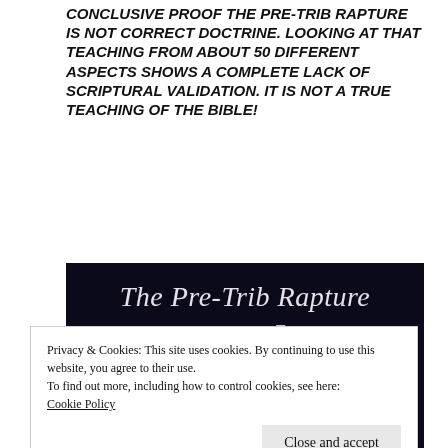CONCLUSIVE PROOF THE PRE-TRIB RAPTURE IS NOT CORRECT DOCTRINE. LOOKING AT THAT TEACHING FROM ABOUT 50 DIFFERENT ASPECTS SHOWS A COMPLETE LACK OF SCRIPTURAL VALIDATION. IT IS NOT A TRUE TEACHING OF THE BIBLE!
[Figure (illustration): Book cover with dark navy background showing text: 'The Pre-Trib Rapture A Bucket Full of']
Privacy & Cookies: This site uses cookies. By continuing to use this website, you agree to their use.
To find out more, including how to control cookies, see here: Cookie Policy